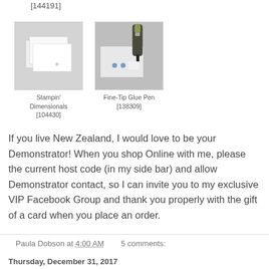[144191]
[Figure (photo): Photo of Stampin' Dimensionals product]
Stampin' Dimensionals [104430]
[Figure (photo): Photo of Fine-Tip Glue Pen product]
Fine-Tip Glue Pen [138309]
If you live New Zealand, I would love to be your Demonstrator! When you shop Online with me, please the current host code (in my side bar) and allow Demonstrator contact, so I can invite you to my exclusive VIP Facebook Group and thank you properly with the gift of a card when you place an order.
Paula Dobson at 4:00 AM   5 comments:
Thursday, December 31, 2017